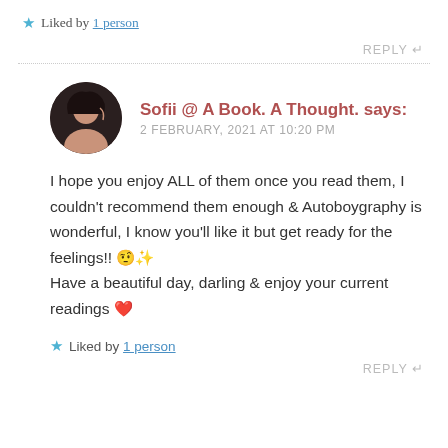★ Liked by 1 person
REPLY ↩
Sofii @ A Book. A Thought. says: 2 FEBRUARY, 2021 AT 10:20 PM
I hope you enjoy ALL of them once you read them, I couldn't recommend them enough & Autoboygraphy is wonderful, I know you'll like it but get ready for the feelings!! 🤨✨
Have a beautiful day, darling & enjoy your current readings ❤️
★ Liked by 1 person
REPLY ↩